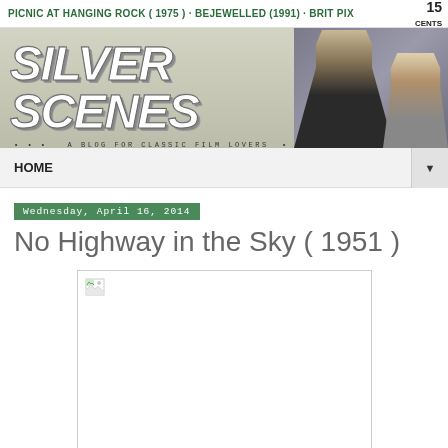PICNIC AT HANGING ROCK ( 1975 ) · BEJEWELLED (1991) · BRIT PIX   15 CENTS
[Figure (illustration): Silver Scenes blog banner with large bold italic title 'SILVER SCENES', subtitle '• • • A BLOG FOR CLASSIC FILM LOVERS •', and a photo of two people on the right side. Price '15 CENTS' in top right.]
HOME
Wednesday, April 16, 2014
No Highway in the Sky ( 1951 )
[Figure (photo): Broken/missing image placeholder (empty white rectangle with browser broken-image icon in top left corner)]